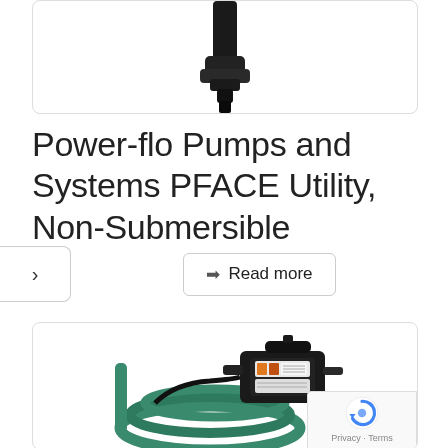[Figure (photo): Top portion of a pump product image (cropped, showing bottom part of pump fitting against white background with rounded-rectangle border)]
Power-flo Pumps and Systems PFACE Utility, Non-Submersible
[Figure (other): Navigation arrow button (right chevron) on left edge, and a 'Read more' button with arrow icon in center]
[Figure (photo): Product photo of a Power-flo PFACE utility non-submersible pump with green hose and black body with label stickers, shown in rounded-rectangle bordered box. reCAPTCHA badge visible in bottom-right corner.]